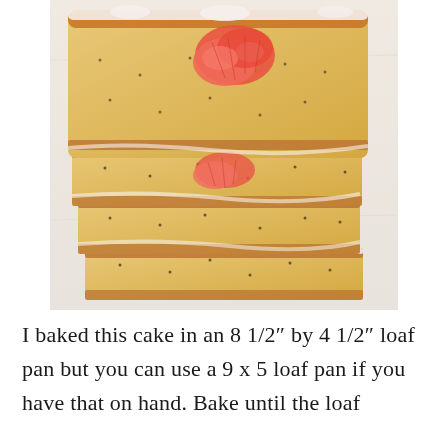[Figure (photo): Stacked slices of glazed poppy seed loaf cake topped with grapefruit segments, on white parchment paper, viewed from above]
I baked this cake in an 8 1/2″ by 4 1/2″ loaf pan but you can use a 9 x 5 loaf pan if you have that on hand. Bake until the loaf